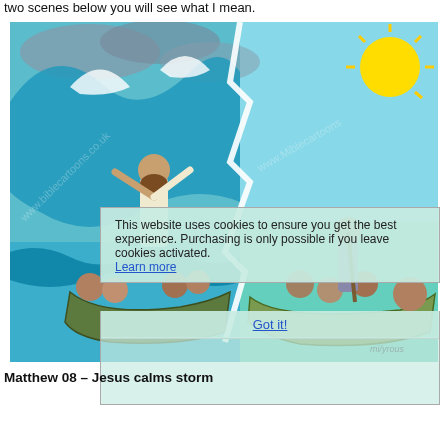two scenes below you will see what I mean.
[Figure (illustration): A two-panel cartoon illustration: left panel shows Jesus standing in a boat with arms raised during a storm with large waves; right panel shows disciples in a calm boat after the storm, with sunshine. A cookie consent overlay covers the lower portion.]
Matthew 08 – Jesus calms storm